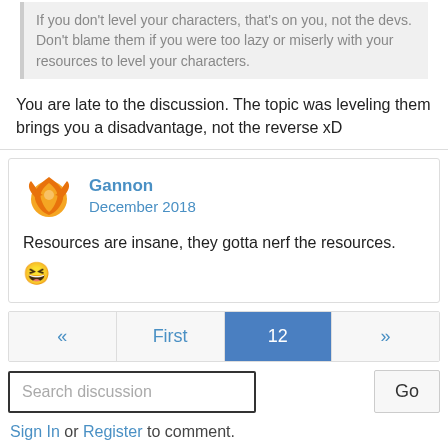If you don't level your characters, that's on you, not the devs. Don't blame them if you were too lazy or miserly with your resources to level your characters.
You are late to the discussion. The topic was leveling them brings you a disadvantage, not the reverse xD
Gannon
December 2018
Resources are insane, they gotta nerf the resources. 😆
« First 12 »
Search discussion
Go
Sign In or Register to comment.